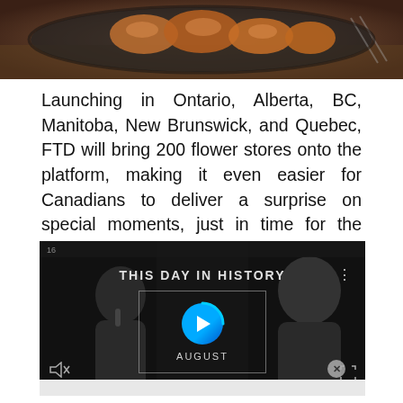[Figure (photo): Top portion showing food — rolls/pastries in a dark skillet on a wooden table]
Launching in Ontario, Alberta, BC, Manitoba, New Brunswick, and Quebec, FTD will bring 200 flower stores onto the platform, making it even easier for Canadians to deliver a surprise on special moments, just in time for the holidays. This offering will continue to roll out to additional markets over the next year.
[Figure (screenshot): Video player screenshot showing 'THIS DAY IN HISTORY' with a play button and 'AUGUST' label, dark background with silhouetted figures]